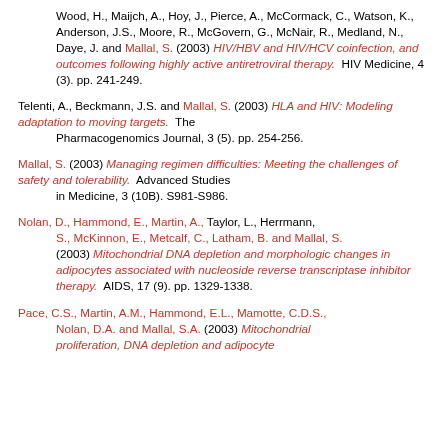Wood, H., Maijch, A., Hoy, J., Pierce, A., McCormack, C., Watson, K., Anderson, J.S., Moore, R., McGovern, G., McNair, R., Medland, N., Daye, J. and Mallal, S. (2003) HIV/HBV and HIV/HCV coinfection, and outcomes following highly active antiretroviral therapy. HIV Medicine, 4 (3). pp. 241-249.
Telenti, A., Beckmann, J.S. and Mallal, S. (2003) HLA and HIV: Modeling adaptation to moving targets. The Pharmacogenomics Journal, 3 (5). pp. 254-256.
Mallal, S. (2003) Managing regimen difficulties: Meeting the challenges of safety and tolerability. Advanced Studies in Medicine, 3 (10B). S981-S986.
Nolan, D., Hammond, E., Martin, A., Taylor, L., Herrmann, S., McKinnon, E., Metcalf, C., Latham, B. and Mallal, S. (2003) Mitochondrial DNA depletion and morphologic changes in adipocytes associated with nucleoside reverse transcriptase inhibitor therapy. AIDS, 17 (9). pp. 1329-1338.
Pace, C.S., Martin, A.M., Hammond, E.L., Mamotte, C.D.S., Nolan, D.A. and Mallal, S.A. (2003) Mitochondrial proliferation, DNA depletion and adipocyte...